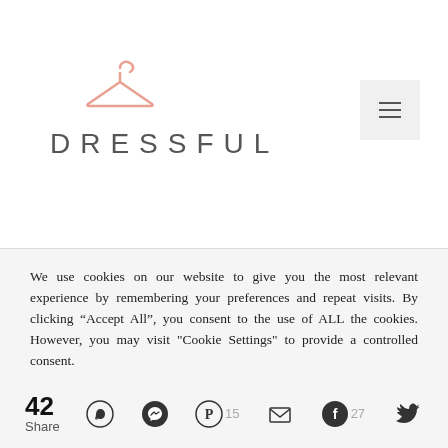[Figure (logo): Dressful brand logo with a salmon/pink clothing hanger icon above the text 'DRESSFUL' in spaced gray letters]
[Figure (other): Hamburger menu button (three horizontal lines) on a light gray square background, top right corner]
We use cookies on our website to give you the most relevant experience by remembering your preferences and repeat visits. By clicking “Accept All”, you consent to the use of ALL the cookies. However, you may visit "Cookie Settings" to provide a controlled consent.
42 Share — social share icons: WhatsApp, Messenger, Pinterest 15, Email, Facebook 27, Twitter